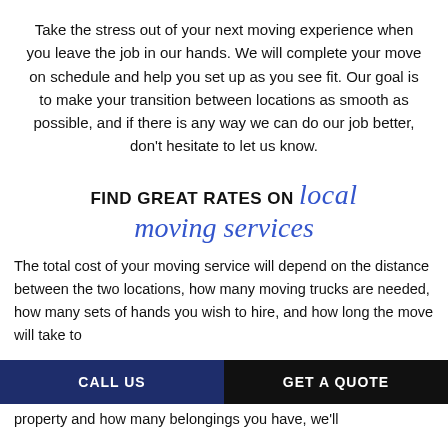Take the stress out of your next moving experience when you leave the job in our hands. We will complete your move on schedule and help you set up as you see fit. Our goal is to make your transition between locations as smooth as possible, and if there is any way we can do our job better, don't hesitate to let us know.
FIND GREAT RATES ON local moving services
The total cost of your moving service will depend on the distance between the two locations, how many moving trucks are needed, how many sets of hands you wish to hire, and how long the move will take to complete. Depending on the size of your property and how many belongings you have, we'll